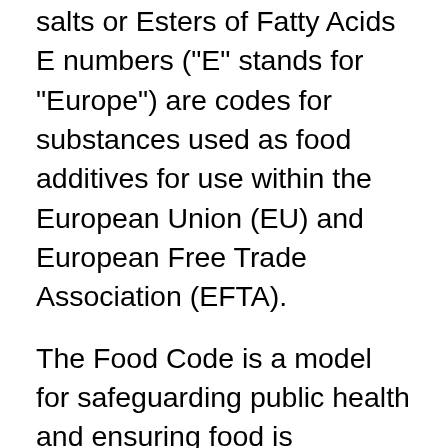salts or Esters of Fatty Acids E numbers ("E" stands for "Europe") are codes for substances used as food additives for use within the European Union (EU) and European Free Trade Association (EFTA).
The Food Code is a model for safeguarding public health and ensuring food is unadulterated and honestly presented when offered to the consumer. E477: Propane-1,2-Diol Esters of Fatty Acids: Emulsifiers and Stabilizers - salts or Esters of Fatty Acids: MUSBOOH: Mushbooh, Halal if it is from plant fat, Haram if it is from pork fat: E478: Lactylated Fatty Acid Esters of Glycerol and Propane-1,2-Diol: Emulsifiers and Stabilizers - salts or Esters of Fatty Acids: MUSBOOH [food additives] e477 A study on the use of E-numbers (or E-codes) found in products sold in the Netherlands. e477 or